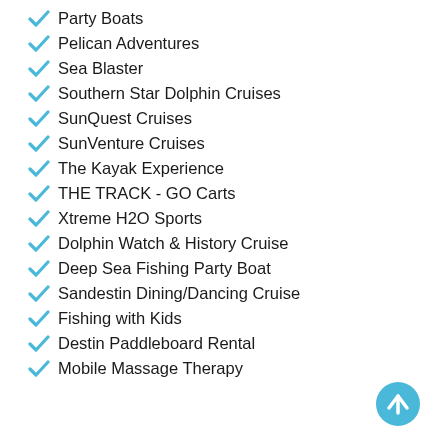Party Boats
Pelican Adventures
Sea Blaster
Southern Star Dolphin Cruises
SunQuest Cruises
SunVenture Cruises
The Kayak Experience
THE TRACK - GO Carts
Xtreme H2O Sports
Dolphin Watch & History Cruise
Deep Sea Fishing Party Boat
Sandestin Dining/Dancing Cruise
Fishing with Kids
Destin Paddleboard Rental
Mobile Massage Therapy